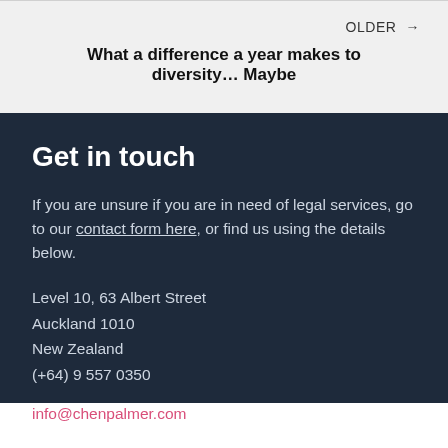OLDER →
What a difference a year makes to diversity… Maybe
Get in touch
If you are unsure if you are in need of legal services, go to our contact form here, or find us using the details below.
Level 10, 63 Albert Street
Auckland 1010
New Zealand
(+64) 9 557 0350
info@chenpalmer.com